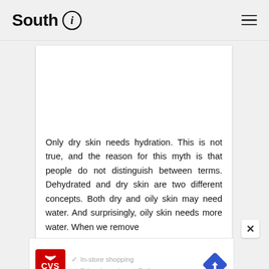South (i)
Only dry skin needs hydration. This is not true, and the reason for this myth is that people do not distinguish between terms. Dehydrated and dry skin are two different concepts. Both dry and oily skin may need water. And surprisingly, oily skin needs more water. When we remove
[Figure (advertisement): CVS Pharmacy advertisement with checkmarks listing In-store shopping, Drive-through, and Delivery services, with a navigation diamond icon]